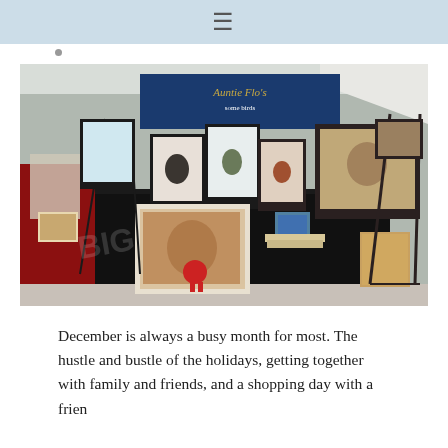≡
[Figure (photo): An art vendor booth at an indoor craft fair or market. A long table covered with a black tablecloth displays numerous framed paintings and photographs of birds and nature scenes. A blue banner reading 'Auntie Flo's' is visible in the background. Various framed artworks are propped up on easels and on the table. An ornate white decorative frame holds a portrait photo in the foreground. Boxes and additional artwork lean against the right side of the booth.]
December is always a busy month for most.  The hustle and bustle of the holidays, getting together with family and friends, and a shopping day with a frien…